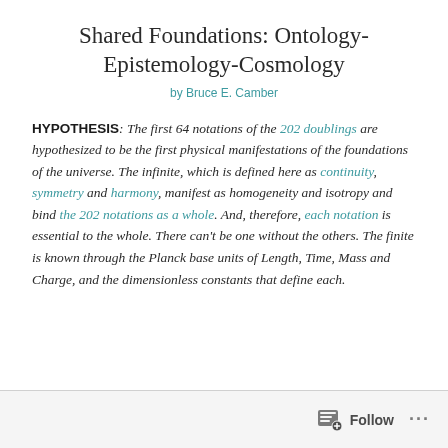Shared Foundations: Ontology-Epistemology-Cosmology
by Bruce E. Camber
HYPOTHESIS: The first 64 notations of the 202 doublings are hypothesized to be the first physical manifestations of the foundations of the universe. The infinite, which is defined here as continuity, symmetry and harmony, manifest as homogeneity and isotropy and bind the 202 notations as a whole. And, therefore, each notation is essential to the whole. There can't be one without the others. The finite is known through the Planck base units of Length, Time, Mass and Charge, and the dimensionless constants that define each.
Follow